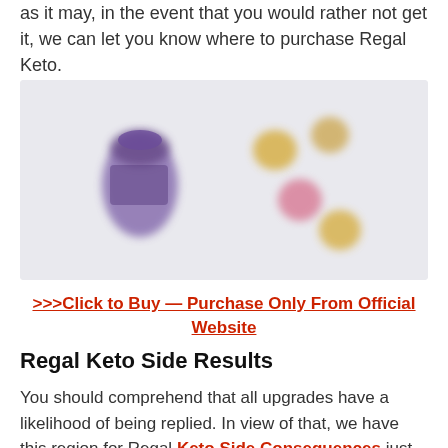as it may, in the event that you would rather not get it, we can let you know where to purchase Regal Keto.
[Figure (photo): Blurred product image showing purple supplement bottle and scattered gummy supplements on a light background.]
>>>Click to Buy — Purchase Only From Official Website
Regal Keto Side Results
You should comprehend that all upgrades have a likelihood of being replied. In view of that, we have this region for Regal Keto Side Consequences just to ensure you perceive what you may be associated